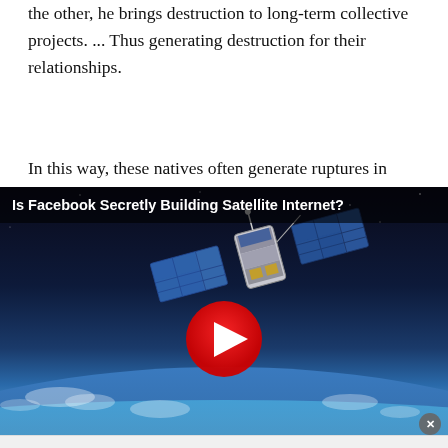native does not synchronize his wishes with the wishes of the other, he brings destruction to long-term collective projects. ... Thus generating destruction for their relationships.
In this way, these natives often generate ruptures in
[Figure (screenshot): Video thumbnail showing a satellite in orbit above Earth with the title 'Is Facebook Secretly Building Satellite Internet?' and a red play button overlay. A close (X) button appears at the bottom right.]